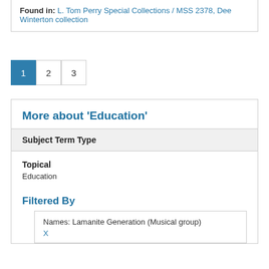Found in: L. Tom Perry Special Collections / MSS 2378, Dee Winterton collection
1 2 3
More about 'Education'
| Subject Term Type |
| --- |
| Topical
Education |
Filtered By
Names: Lamanite Generation (Musical group)
X